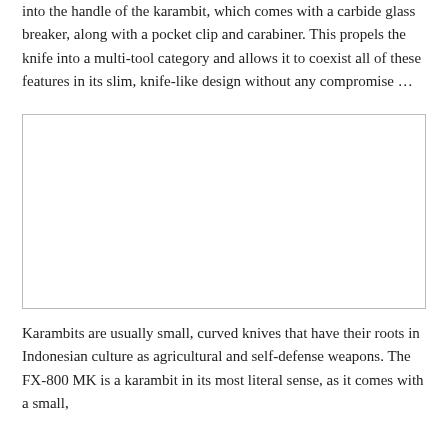into the handle of the karambit, which comes with a carbide glass breaker, along with a pocket clip and carabiner. This propels the knife into a multi-tool category and allows it to coexist all of these features in its slim, knife-like design without any compromise …
[Figure (photo): Empty white image placeholder with a thin light grey border, no visible content inside.]
Karambits are usually small, curved knives that have their roots in Indonesian culture as agricultural and self-defense weapons. The FX-800 MK is a karambit in its most literal sense, as it comes with a small,